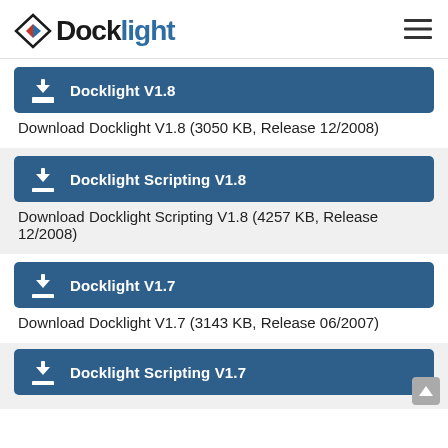Docklight
Docklight V1.8
Download Docklight V1.8 (3050 KB, Release 12/2008)
Docklight Scripting V1.8
Download Docklight Scripting V1.8 (4257 KB, Release 12/2008)
Docklight V1.7
Download Docklight V1.7 (3143 KB, Release 06/2007)
Docklight Scripting V1.7